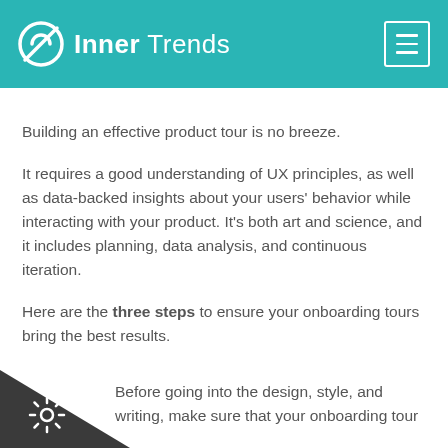Inner Trends
Building an effective product tour is no breeze.
It requires a good understanding of UX principles, as well as data-backed insights about your users' behavior while interacting with your product. It's both art and science, and it includes planning, data analysis, and continuous iteration.
Here are the three steps to ensure your onboarding tours bring the best results.
Step #1: Set a clear goal for each tour ✓
Before going into the design, style, and writing, make sure that your onboarding tour